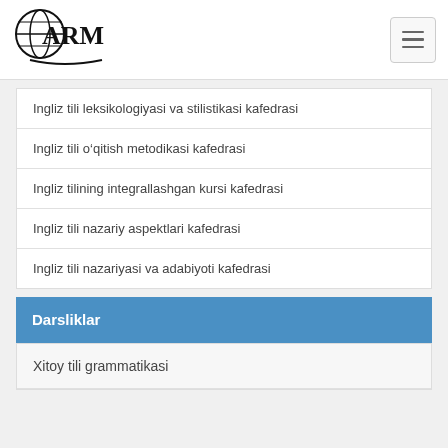ARM
Ingliz tili leksikologiyasi va stilistikasi kafedrasi
Ingliz tili o‘qitish metodikasi kafedrasi
Ingliz tilining integrallashgan kursi kafedrasi
Ingliz tili nazariy aspektlari kafedrasi
Ingliz tili nazariyasi va adabiyoti kafedrasi
Darsliklar
Xitoy tili grammatikasi